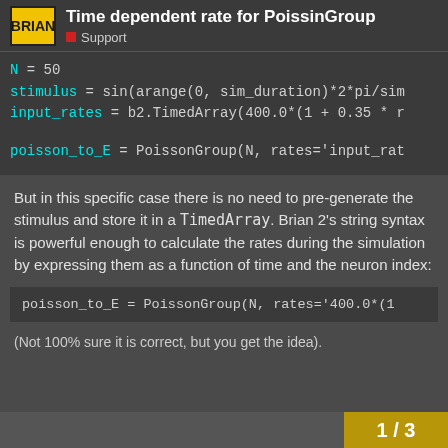Time dependent rate for PoissinGroup — Support
[Figure (screenshot): Code block showing: N = 50, stimulus = sin(arange(0, sim_duration)*2*pi/sim..., input_rates = b2.TimedArray(400.0*(1 + 0.35 * r..., poisson_to_E = PoissonGroup(N, rates='input_rat...]
But in this specific case there is no need to pre-generate the stimulus and store it in a TimedArray. Brian 2's string syntax is powerful enough to calculate the rates during the simulation by expressing them as a function of time and the neuron index:
[Figure (screenshot): Code block: poisson_to_E = PoissonGroup(N, rates='400.0*(1...]
(Not 100% sure it is correct, but you get the idea).
1 / 3